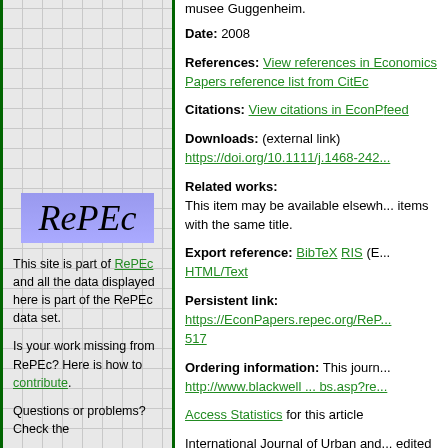musee Guggenheim.
Date: 2008
References: View references in EconPapers reference list from CitEc
Citations: View citations in EconPapers feed
Downloads: (external link) https://doi.org/10.1111/j.1468-242...
Related works: This item may be available elsewhere in EconPapers: Search for items with the same title.
Export reference: BibTeX RIS (E... HTML/Text
Persistent link: https://EconPapers.repec.org/RePe... 517
Ordering information: This journal article can be ordered from http://www.blackwell ... bs.asp?re...
Access Statistics for this article
International Journal of Urban and Regional Research, edited by Alan Harding, Roger Ke...
[Figure (logo): RePEc logo with italic text on blue/purple gradient background]
This site is part of RePEc and all the data displayed here is part of the RePEc data set.
Is your work missing from RePEc? Here is how to contribute.
Questions or problems? Check the